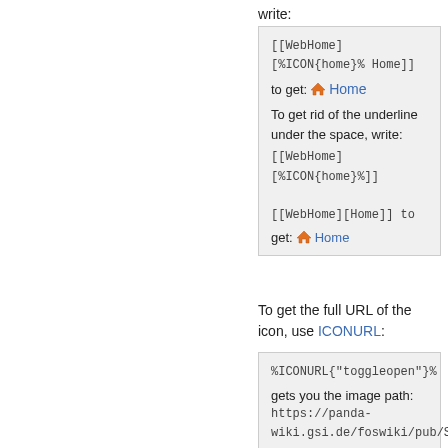write:
[[WebHome][%ICON{home}% Home]]
to get: 🏠 Home

To get rid of the underline under the space, write:
[[WebHome][%ICON{home}%]]
[[WebHome][Home]] to get: 🏠 Home
To get the full URL of the icon, use ICONURL:
%ICONURL{"toggleopen"}%
gets you the image path:
https://panda-wiki.gsi.de/foswiki/pub/Sys
and that will get rendered as: